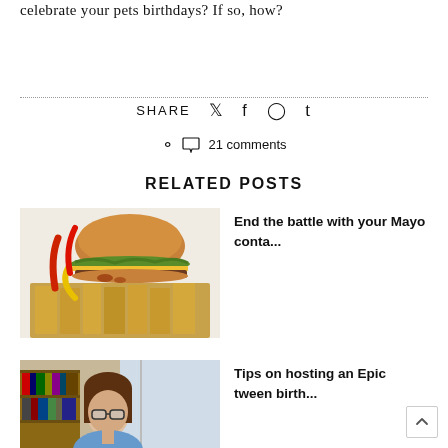celebrate your pets birthdays? If so, how?
SHARE (social icons)
21 comments
RELATED POSTS
[Figure (photo): A burger with colorful peppers and fries on a white plate]
End the battle with your Mayo conta...
[Figure (photo): A woman with glasses sitting in front of a bookshelf near a window]
Tips on hosting an Epic tween birth...